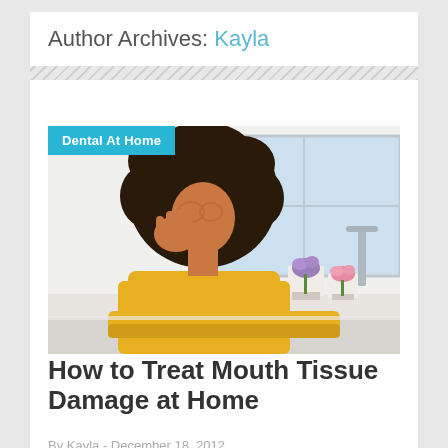Author Archives: Kayla
[Figure (photo): Woman in yellow sweater holding her cheek in pain, standing in a kitchen with flowers and plants in the background. A 'Dental At Home' category badge overlays the top-left of the image.]
How to Treat Mouth Tissue Damage at Home
By Kayla - December 18, 2012